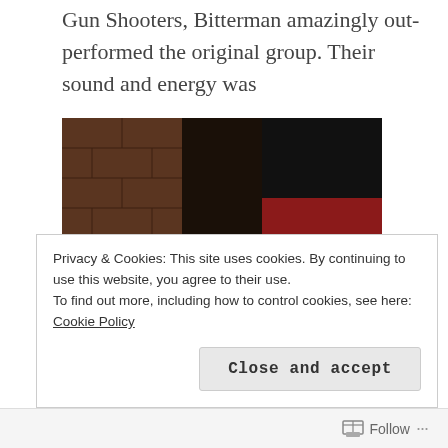Gun Shooters, Bitterman amazingly out-performed the original group. Their sound and energy was
[Figure (photo): Three musicians playing electric guitars on a dimly lit stage with brick walls and a red accent wall in the background. The musician on the left wears a black t-shirt, the center wears a green shirt and white cap, and the right wears a gray outfit.]
totally more focused. While I was ready for another 45 minutes of
Privacy & Cookies: This site uses cookies. By continuing to use this website, you agree to their use.
To find out more, including how to control cookies, see here: Cookie Policy
Close and accept